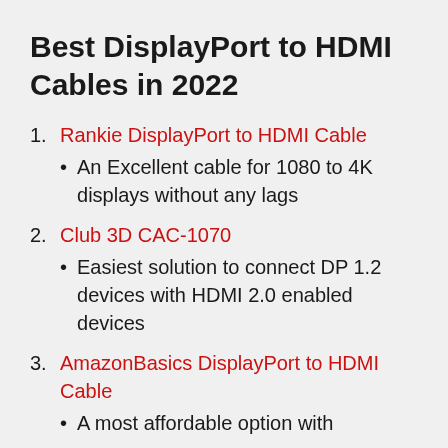Best DisplayPort to HDMI Cables in 2022
1. Rankie DisplayPort to HDMI Cable
An Excellent cable for 1080 to 4K displays without any lags
2. Club 3D CAC-1070
Easiest solution to connect DP 1.2 devices with HDMI 2.0 enabled devices
3. AmazonBasics DisplayPort to HDMI Cable
A most affordable option with